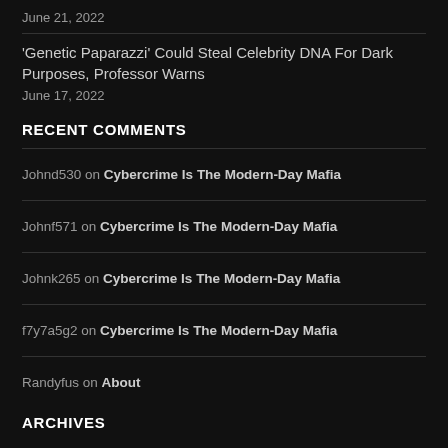June 21, 2022
'Genetic Paparazzi' Could Steal Celebrity DNA For Dark Purposes, Professor Warns
June 17, 2022
RECENT COMMENTS
Johnd530 on Cybercrime Is The Modern-Day Mafia
Johnf571 on Cybercrime Is The Modern-Day Mafia
Johnk265 on Cybercrime Is The Modern-Day Mafia
f7y7a5g2 on Cybercrime Is The Modern-Day Mafia
Randyfus on About
ARCHIVES